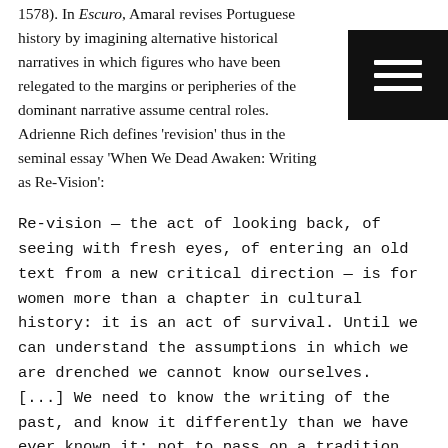1578). In Escuro, Amaral revises Portuguese history by imagining alternative historical narratives in which figures who have been relegated to the margins or peripheries of the dominant narrative assume central roles. Adrienne Rich defines 'revision' thus in the seminal essay 'When We Dead Awaken: Writing as Re-Vision':
Re-vision — the act of looking back, of seeing with fresh eyes, of entering an old text from a new critical direction — is for women more than a chapter in cultural history: it is an act of survival. Until we can understand the assumptions in which we are drenched we cannot know ourselves. [...] We need to know the writing of the past, and know it differently than we have ever known it; not to pass on a tradition, but to break its hold over us.17
The poems that make up Amaral's collection frequently take place in an alternative or subjunctive mode, where the poet suggests a version of events that questions the problematic foundations on which prevailing dominant historical narratives are founded. Canonical poets like Camões and Pessoa have been instrumental in the writing